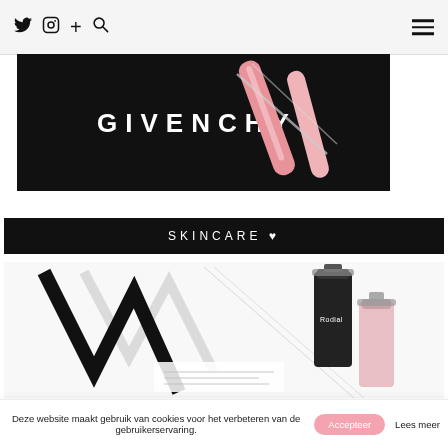Twitter Instagram + Search [hamburger menu]
[Figure (photo): Givenchy branded black surface with pink/rose lip gloss tubes and applicator wands arranged on top]
SKINCARE ♥
[Figure (photo): Rodial skincare products - a dark bottle serum and a pale pink tube/bottle with chrome caps, arranged on a white background with geometric black lines]
Deze website maakt gebruik van cookies voor het verbeteren van de gebruikerservaring. Accepteer  Lees meer